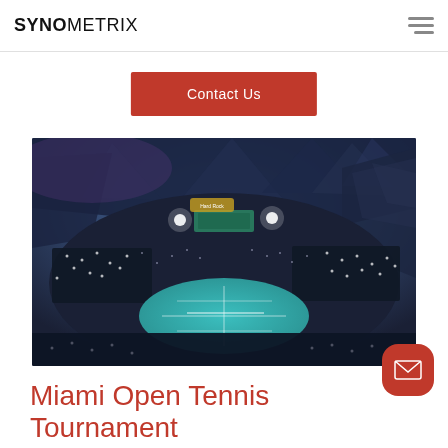SYNOMETRIX
Contact Us
[Figure (photo): Aerial view of a packed tennis stadium at night, showing a teal colored tennis court surrounded by large crowds, with roof structures and bright floodlights visible. Hard Rock branding visible.]
Miami Open Tennis Tournament